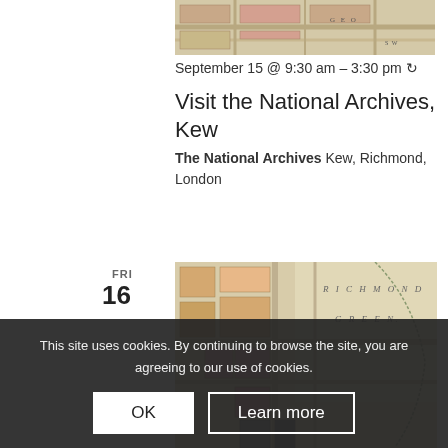[Figure (map): Partial view of a historical map showing street layout]
September 15 @ 9:30 am – 3:30 pm ↻
Visit the National Archives, Kew
The National Archives Kew, Richmond, London
FRI 16
[Figure (map): Historical map showing Richmond Green area with building plots]
This site uses cookies. By continuing to browse the site, you are agreeing to our use of cookies.
OK
Learn more